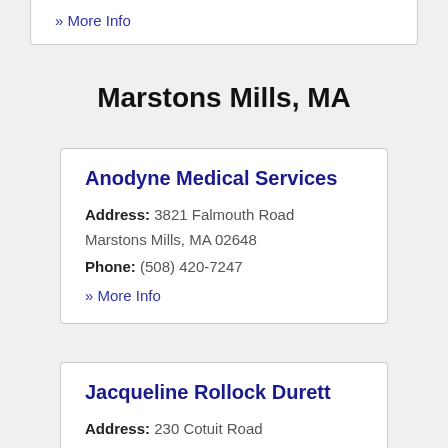» More Info
Marstons Mills, MA
Anodyne Medical Services
Address: 3821 Falmouth Road Marstons Mills, MA 02648
Phone: (508) 420-7247
» More Info
Jacqueline Rollock Durett
Address: 230 Cotuit Road